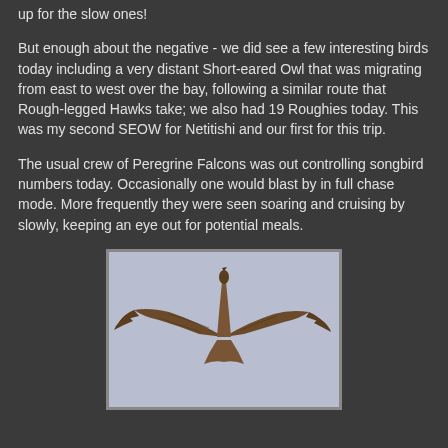up for the slow ones!
But enough about the negative - we did see a few interesting birds today including a very distant Short-eared Owl that was migrating from east to west over the bay, following a similar route that Rough-legged Hawks take; we also had 19 Roughies today. This was my second SEOW for Netitishi and our first for this trip.
The usual crew of Peregrine Falcons was out controlling songbird numbers today. Occasionally one would blast by in full chase mode. More frequently they were seen soaring and cruising by slowly, keeping an eye out for potential meals.
[Figure (photo): A bird of prey (likely a Peregrine Falcon or hawk) photographed from below against a pale blue-grey sky, showing the underside of the bird with spread wings, brown/rufous coloration.]